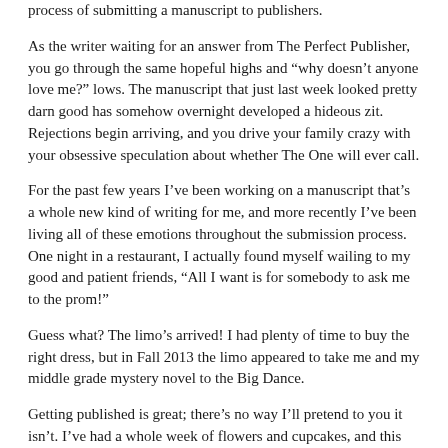process of submitting a manuscript to publishers.
As the writer waiting for an answer from The Perfect Publisher, you go through the same hopeful highs and “why doesn’t anyone love me?” lows. The manuscript that just last week looked pretty darn good has somehow overnight developed a hideous zit. Rejections begin arriving, and you drive your family crazy with your obsessive speculation about whether The One will ever call.
For the past few years I’ve been working on a manuscript that’s a whole new kind of writing for me, and more recently I’ve been living all of these emotions throughout the submission process. One night in a restaurant, I actually found myself wailing to my good and patient friends, “All I want is for somebody to ask me to the prom!”
Guess what? The limo’s arrived! I had plenty of time to buy the right dress, but in Fall 2013 the limo appeared to take me and my middle grade mystery novel to the Big Dance.
Getting published is great; there’s no way I’ll pretend to you it isn’t. I’ve had a whole week of flowers and cupcakes, and this isn’t even my first dance! But the pursuit of getting published can also be tougher and more humbling than new writers imagine. So when kids approach me with that hopeful gleam in their eye and ask, “How do I get my